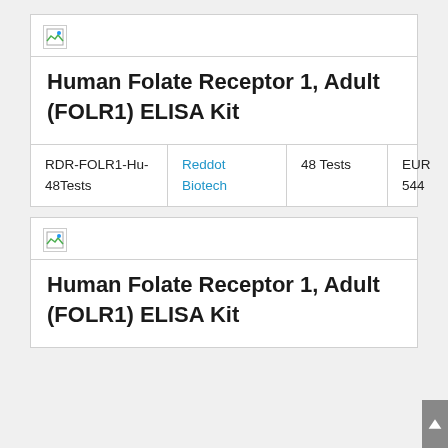[Figure (other): Broken/placeholder product image thumbnail for first product card]
Human Folate Receptor 1, Adult (FOLR1) ELISA Kit
| RDR-FOLR1-Hu-48Tests | Reddot Biotech | 48 Tests | EUR 544 |
[Figure (other): Broken/placeholder product image thumbnail for second product card]
Human Folate Receptor 1, Adult (FOLR1) ELISA Kit